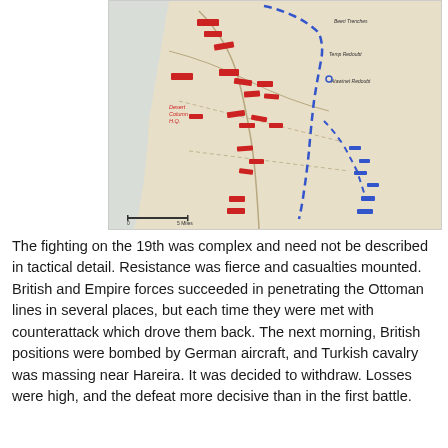[Figure (map): Military map showing British and Ottoman troop positions and movements during the Second Battle of Gaza, with red markers indicating British/Empire forces and blue dashed lines indicating Ottoman defensive lines. The map shows locations including Desert Column H.Q., Atawinet Redoubt, Beeri Trenches, and Temp Redoubt. A scale bar is visible at the bottom left.]
The fighting on the 19th was complex and need not be described in tactical detail. Resistance was fierce and casualties mounted. British and Empire forces succeeded in penetrating the Ottoman lines in several places, but each time they were met with counterattack which drove them back. The next morning, British positions were bombed by German aircraft, and Turkish cavalry was massing near Hareira. It was decided to withdraw. Losses were high, and the defeat more decisive than in the first battle.